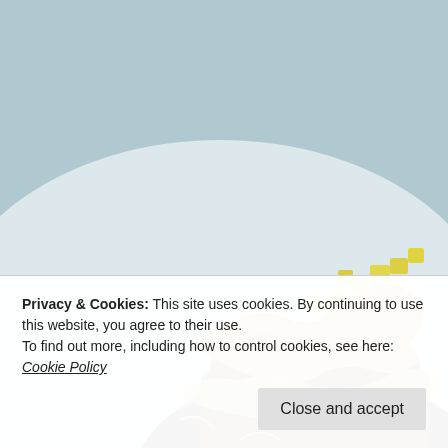[Figure (photo): Close-up photo of a food dish — appears to be a burger or steak topped with caramelized onions, melted cheese, and diced yellow peppers/pineapple, served on a white plate.]
Privacy & Cookies: This site uses cookies. By continuing to use this website, you agree to their use.
To find out more, including how to control cookies, see here: Cookie Policy
Close and accept